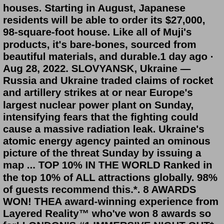houses. Starting in August, Japanese residents will be able to order its $27,000, 98-square-foot house. Like all of Muji's products, it's bare-bones, sourced from beautiful materials, and durable.1 day ago · Aug 28, 2022. SLOVYANSK, Ukraine — Russia and Ukraine traded claims of rocket and artillery strikes at or near Europe's largest nuclear power plant on Sunday, intensifying fears that the fighting could cause a massive radiation leak. Ukraine's atomic energy agency painted an ominous picture of the threat Sunday by issuing a map ... TOP 10% IN THE WORLD Ranked in the top 10% of ALL attractions globally. 98% of guests recommend this.*. 8 AWARDS WON! THEA award-winning experience from Layered Reality™ who've won 8 awards so far! LONDON'S #1 IMMERSIVE NIGHT OUT* Rated 5/5 and #12 of ALL London Nightlife and the only immersive event in the top 20 on Tripadvisor.Aug 30, 2017 · Location: Japan. The world-famous Japanese design firm Muji, known for its minimalist home goods and clothing, is now selling houses. Starting in